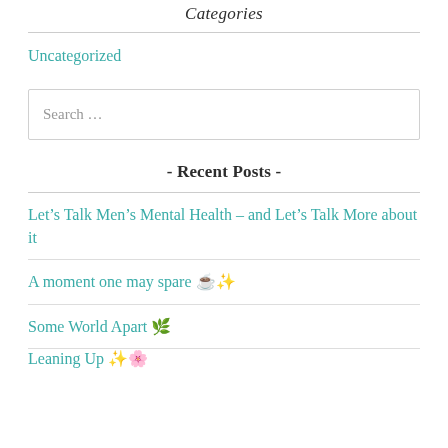Categories
Uncategorized
Search …
- Recent Posts -
Let's Talk Men's Mental Health – and Let's Talk More about it
A moment one may spare ☕✨
Some World Apart 🌿
Leaning Up ✨🌸